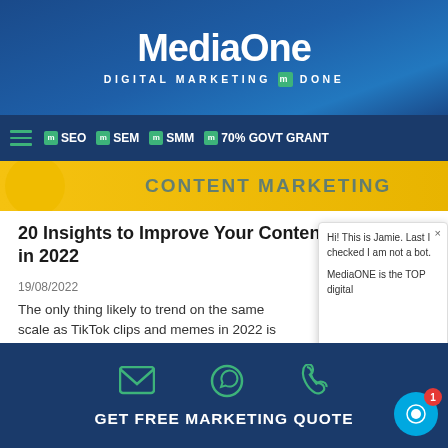MediaOne — DIGITAL MARKETING DONE
SEO | SEM | SMM | 70% GOVT GRANT
[Figure (screenshot): Yellow content marketing banner with partial text CONTENT MARKETING]
20 Insights to Improve Your Content Marketing in 2022
19/08/2022
The only thing likely to trend on the same scale as TikTok clips and memes in 2022 is binge-able, scannable, snackable c... not
Read More »
[Figure (screenshot): Chat popup showing Hi! This is Jamie. Last I checked I am not a bot. MediaONE is the TOP digital. Write input bar with like, paperclip, emoji icons.]
GET FREE MARKETING QUOTE